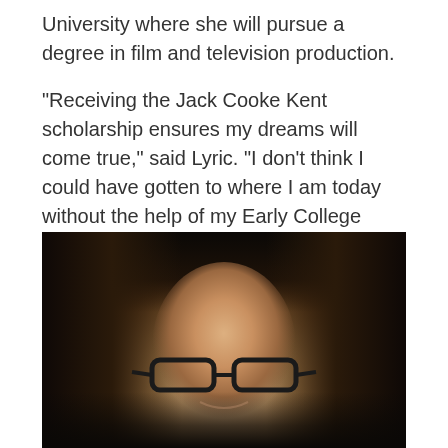University where she will pursue a degree in film and television production.
“Receiving the Jack Cooke Kent scholarship ensures my dreams will come true,” said Lyric. “I don’t think I could have gotten to where I am today without the help of my Early College teachers and Ms. Kongmany. Having the support of Ms. Kongmany and College Advising Corps has truly been amazing.”
[Figure (photo): Portrait photo of a young woman with long dark brown hair, wearing black-rimmed glasses, smiling, photographed against a dark background]